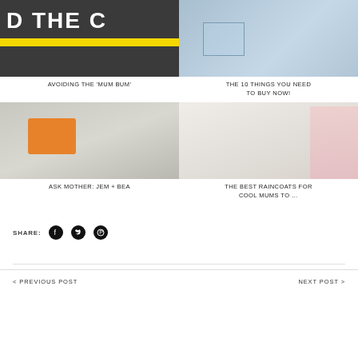[Figure (photo): Top-left: dark asphalt road surface with yellow line and white text 'D THE C']
AVOIDING THE 'MUM BUM'
[Figure (photo): Top-right: close-up of person wearing light blue denim shirt with chest pocket]
THE 10 THINGS YOU NEED TO BUY NOW!
[Figure (photo): Bottom-left: person in grey sweater holding an orange clutch bag]
ASK MOTHER: JEM + BEA
[Figure (photo): Bottom-right: person in white knit sweater with pink raincoat]
THE BEST RAINCOATS FOR COOL MUMS TO …
SHARE:
< PREVIOUS POST    NEXT POST >